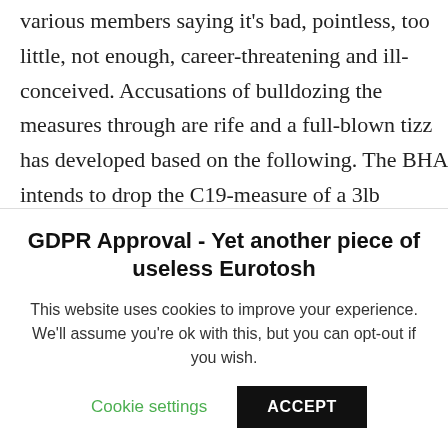various members saying it's bad, pointless, too little, not enough, career-threatening and ill-conceived. Accusations of bulldozing the measures through are rife and a full-blown tizz has developed based on the following. The BHA intends to drop the C19-measure of a 3lb allowance because the Saunas were shut on the grounds of risk. The saunas have now been closed permanently but the jockeys are now only effectively getting a 2lb allowance, when
GDPR Approval - Yet another piece of useless Eurotosh
This website uses cookies to improve your experience. We'll assume you're ok with this, but you can opt-out if you wish.